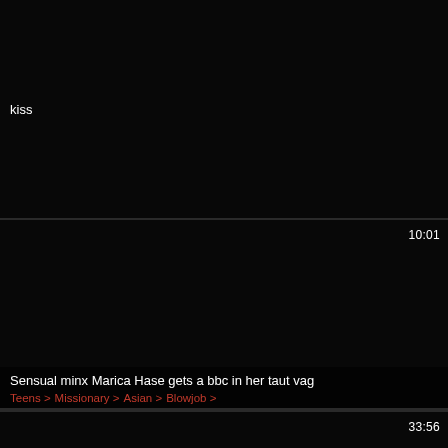[Figure (screenshot): Dark/black video thumbnail with white text label 'kiss' in lower left area]
[Figure (screenshot): Dark/black video thumbnail with duration badge '10:01' in upper right]
Sensual minx Marica Hase gets a bbc in her taut vag
Teens > Missionary > Asian > Blowjob >
[Figure (screenshot): Dark/black video thumbnail with duration badge '33:56' in upper right]